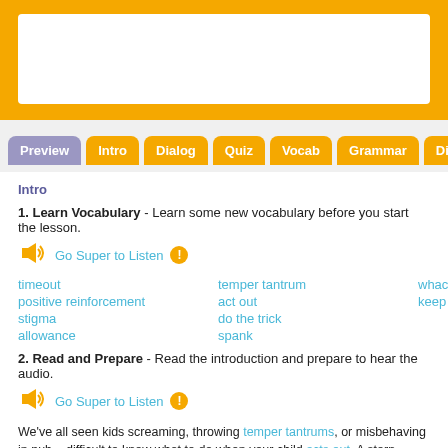Navigation tabs: Preview, Intro, Dialog, Quiz, Vocab, Grammar, Discus...
Intro
1. Learn Vocabulary - Learn some new vocabulary before you start the lesson.
Go Super to Listen
timeout
positive reinforcement
stigma
allowance
temper tantrum
act out
do the trick
spank
whack
keep in ...
2. Read and Prepare - Read the introduction and prepare to hear the audio.
Go Super to Listen
We've all seen kids screaming, throwing temper tantrums, or misbehaving in pub... difficult to know what to do when your child acts out. A stern lecture doesn't alwa... want to be accused of being cruel for spanking your children, either.